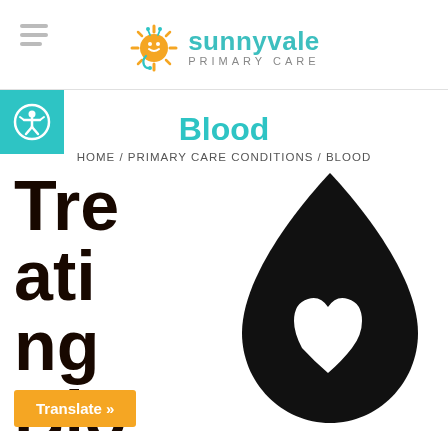sunnyvale PRIMARY CARE
Blood
HOME / PRIMARY CARE CONDITIONS / BLOOD
Treating Blood
[Figure (illustration): Black silhouette of a blood drop shape with a white heart/hand cutout inside]
Translate »